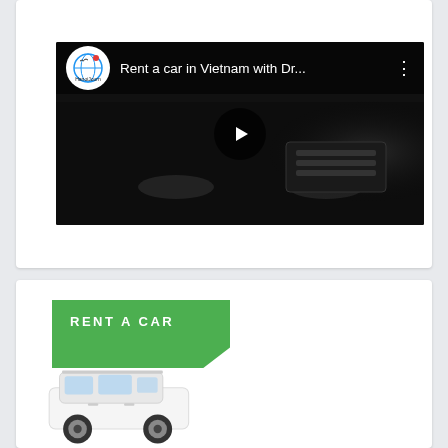[Figure (screenshot): YouTube video embed showing 'Rent a car in Vietnam with Dr...' with a dark overlay, channel logo (HanoiJourney circular logo), video title text, three-dot menu icon, and a play button in the center. Background shows a dark image of a Toyota Fortuner SUV.]
[Figure (illustration): A green banner with 'RENT A CAR' text in white uppercase letters with a diagonal bottom-right cut, and a white Toyota Fortuner SUV image partially visible below the banner.]